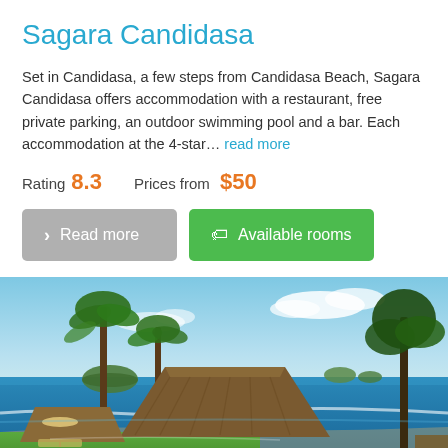Sagara Candidasa
Set in Candidasa, a few steps from Candidasa Beach, Sagara Candidasa offers accommodation with a restaurant, free private parking, an outdoor swimming pool and a bar. Each accommodation at the 4-star… read more
Rating 8.3   Prices from $50
Read more | Available rooms
[Figure (photo): Outdoor photo of Sagara Candidasa resort showing thatched roof bungalows, palm trees, green lawn, and a view of the blue ocean with small islands in the background under a partly cloudy sky.]